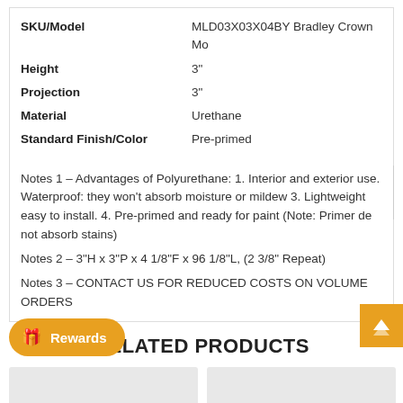| Attribute | Value |
| --- | --- |
| SKU/Model | MLD03X03X04BY Bradley Crown Mo... |
| Height | 3" |
| Projection | 3" |
| Material | Urethane |
| Standard Finish/Color | Pre-primed |
Notes 1 – Advantages of Polyurethane: 1. Interior and exterior use. Waterproof: they won't absorb moisture or mildew 3. Lightweight easy to install. 4. Pre-primed and ready for paint (Note: Primer does not absorb stains)
Notes 2 – 3"H x 3"P x 4 1/8"F x 96 1/8"L, (2 3/8" Repeat)
Notes 3 – CONTACT US FOR REDUCED COSTS ON VOLUME ORDERS
RELATED PRODUCTS
[Figure (photo): Product card with -11% discount badge]
[Figure (photo): Product card with -13% discount badge]